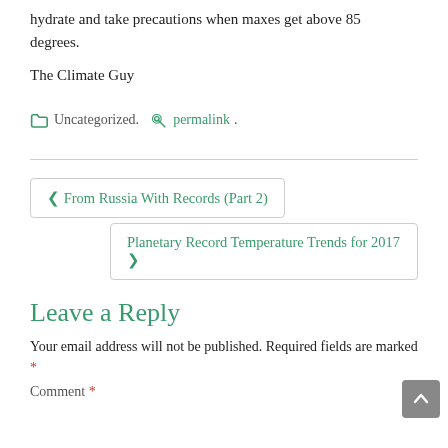hydrate and take precautions when maxes get above 85 degrees.
The Climate Guy
Uncategorized. permalink.
From Russia With Records (Part 2)
Planetary Record Temperature Trends for 2017
Leave a Reply
Your email address will not be published. Required fields are marked *
Comment *